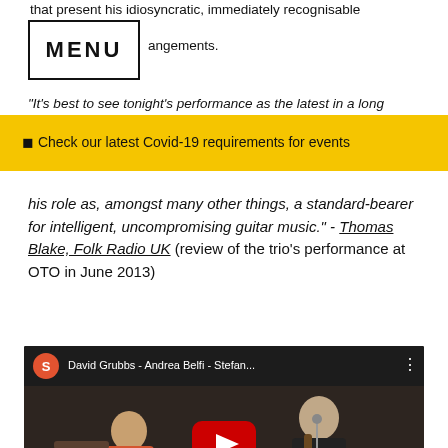that present his idiosyncratic, immediately recognisable arrangements.
MENU
"It's best to see tonight's performance as the latest in a long
⬛ Check our latest Covid-19 requirements for events
his role as, amongst many other things, a standard-bearer for intelligent, uncompromising guitar music." - Thomas Blake, Folk Radio UK (review of the trio's performance at OTO in June 2013)
[Figure (screenshot): YouTube video embed showing David Grubbs - Andrea Belfi - Stefan... with a red play button in the center, two musicians visible on stage, one in a floral shirt on the left and one in a dark shirt on the right holding a guitar]
We use cookies. To find out more click here